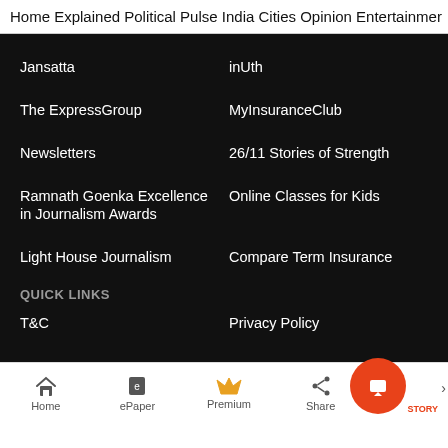Home  Explained  Political Pulse  India  Cities  Opinion  Entertainment
Jansatta
inUth
The ExpressGroup
MyInsuranceClub
Newsletters
26/11 Stories of Strength
Ramnath Goenka Excellence in Journalism Awards
Online Classes for Kids
Light House Journalism
Compare Term Insurance
QUICK LINKS
T&C
Privacy Policy
Home  ePaper  Premium  Share  STORY